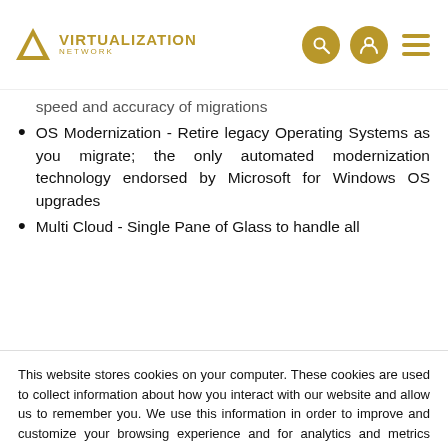Virtualization Network
speed and accuracy of migrations
OS Modernization - Retire legacy Operating Systems as you migrate; the only automated modernization technology endorsed by Microsoft for Windows OS upgrades
Multi Cloud - Single Pane of Glass to handle all
This website stores cookies on your computer. These cookies are used to collect information about how you interact with our website and allow us to remember you. We use this information in order to improve and customize your browsing experience and for analytics and metrics about our visitors both on this website and other media. To find out more about the cookies we use, see our Privacy Policy.
If you decline, your information won’t be tracked when you visit this website. A single cookie will be used in your browser to remember your preference not to be tracked.